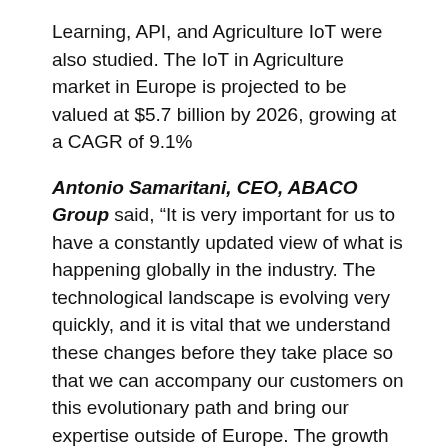Learning, API, and Agriculture IoT were also studied. The IoT in Agriculture market in Europe is projected to be valued at $5.7 billion by 2026, growing at a CAGR of 9.1%
Antonio Samaritani, CEO, ABACO Group said, “It is very important for us to have a constantly updated view of what is happening globally in the industry. The technological landscape is evolving very quickly, and it is vital that we understand these changes before they take place so that we can accompany our customers on this evolutionary path and bring our expertise outside of Europe. The growth in the market for precision agriculture has opened new vistas for ABACO, because of which we could partner with MarketsandMarkets™ to fund a worldwide market study on adoption rate and market potential.”